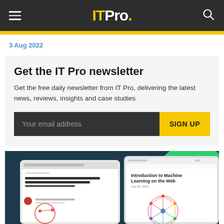IT Pro.
3 Aug 2022
Get the IT Pro newsletter
Get the free daily newsletter from IT Pro, delivering the latest news, reviews, insights and case studies
[Figure (screenshot): Email signup form with dark input field labeled 'Your email address' and yellow 'SIGN UP' button]
[Figure (screenshot): Two device screens showing IT Pro article content including 'Building a more helpful browser with machine learning' and 'Introduction to Machine Learning on the Web' on a dark teal background with green circle accent]